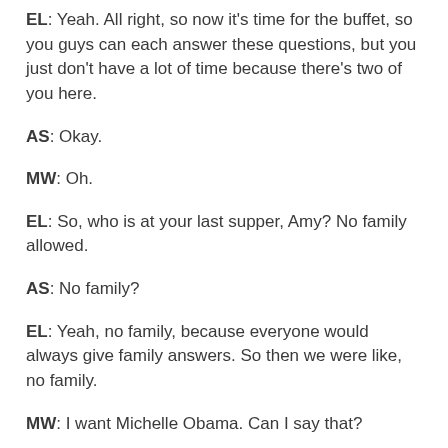EL: Yeah. All right, so now it's time for the buffet, so you guys can each answer these questions, but you just don't have a lot of time because there's two of you here.
AS: Okay.
MW: Oh.
EL: So, who is at your last supper, Amy? No family allowed.
AS: No family?
EL: Yeah, no family, because everyone would always give family answers. So then we were like, no family.
MW: I want Michelle Obama. Can I say that?